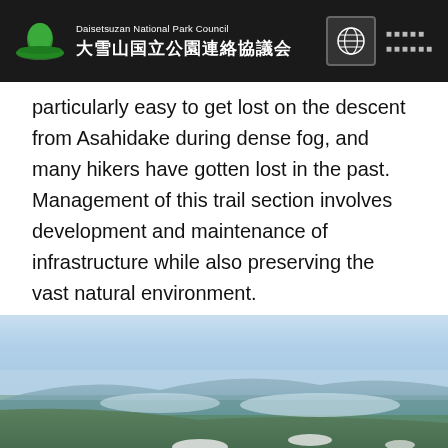Daisetsuzan National Park Council 大雪山国立公園連絡協議会
particularly easy to get lost on the descent from Asahidake during dense fog, and many hikers have gotten lost in the past.
Management of this trail section involves development and maintenance of infrastructure while also preserving the vast natural environment.
[Figure (photo): Hikers descending a rocky alpine slope with a vast panoramic view of green valleys, distant mountains, and scattered snow patches below a hazy sky]